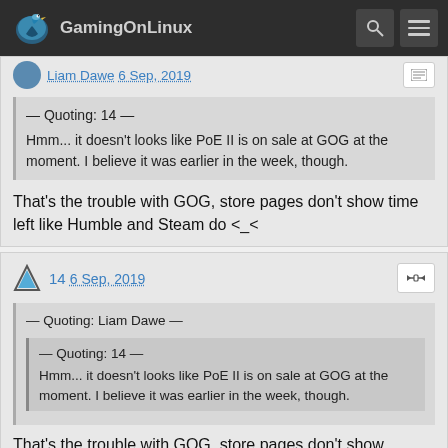GamingOnLinux
Liam Dawe 6 Sep, 2019
— Quoting: 14 —
Hmm... it doesn't looks like PoE II is on sale at GOG at the moment. I believe it was earlier in the week, though.
That's the trouble with GOG, store pages don't show time left like Humble and Steam do <_<
14 6 Sep, 2019
— Quoting: Liam Dawe —
— Quoting: 14 —
Hmm... it doesn't looks like PoE II is on sale at GOG at the moment. I believe it was earlier in the week, though.
That's the trouble with GOG, store pages don't show